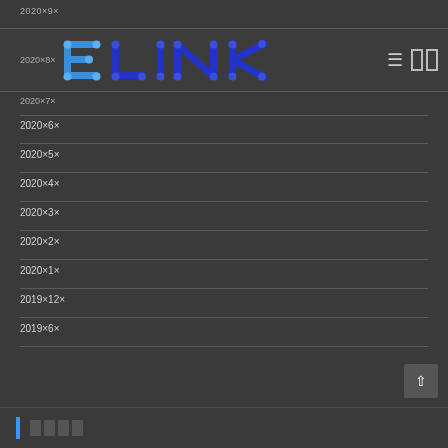2020×9×
[Figure (logo): ELINK logo in blue circuit-board style lettering with dots and connectors]
2020×8×
2020×7×
2020×6×
2020×5×
2020×4×
2020×3×
2020×2×
2020×1×
2019×12×
2019×6×
[Figure (other): Partial footer with blue vertical bar and grey squares]